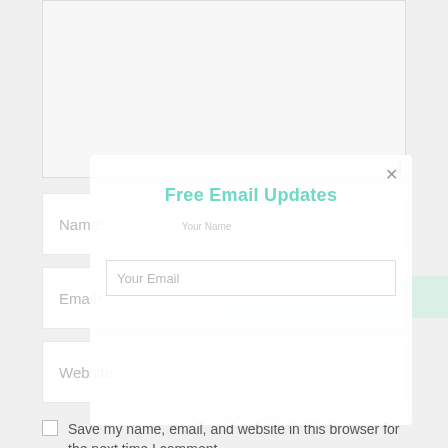[Figure (screenshot): A comment form section with a textarea at the top, a semi-transparent 'Free Email Updates' popup overlay, and form fields for Name, Email, and Website. There is a checkbox to save information for next time and a green POST COMMENT button.]
Name*
Email*
Website
Free Email Updates
Your Email
Save my name, email, and website in this browser for the next time I comment.
POST COMMENT »